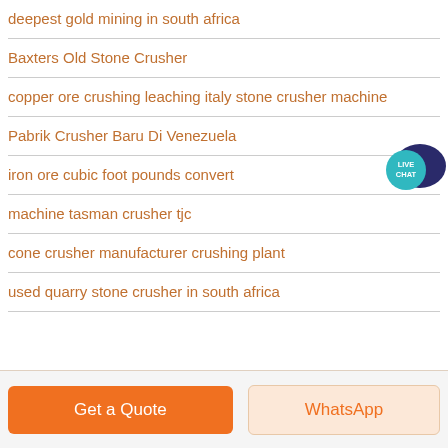deepest gold mining in south africa
Baxters Old Stone Crusher
copper ore crushing leaching italy stone crusher machine
Pabrik Crusher Baru Di Venezuela
iron ore cubic foot pounds convert
machine tasman crusher tjc
cone crusher manufacturer crushing plant
used quarry stone crusher in south africa
[Figure (other): Live Chat speech bubble badge icon in teal/navy colors]
Get a Quote
WhatsApp